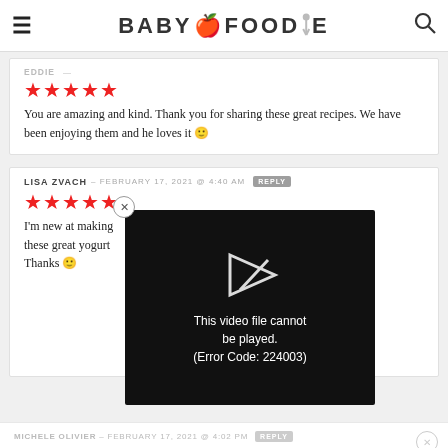BABY FOODIE
★★★★★
You are amazing and kind. Thank you for sharing these great recipes. We have been enjoying them and he loves it 🙂
LISA ZVACH – FEBRUARY 17, 2021 @ 4:40 AM REPLY
★★★★★
I'm new at making these great yogurt Thanks 🙂
[Figure (screenshot): Video player overlay showing error: 'This video file cannot be played. (Error Code: 224003)']
MICHELE OLIVIER – FEBRUARY 17, 2021 @ 4:02 PM REPLY